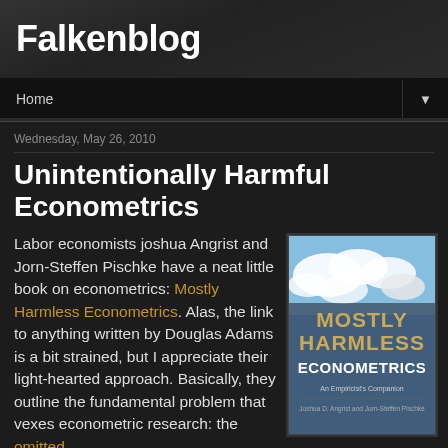Falkenblog
Home
Wednesday, May 26, 2010
Unintentionally Harmful Econometrics
Labor economists joshua Angrist and Jorn-Steffen Pischke have a neat little book on econometrics: Mostly Harmless Econometrics. Alas, the link to anything written by Douglas Adams is a bit strained, but I appreciate their light-hearted approach. Basically, they outline the fundamental problem that vexes econometric research: the omitted
[Figure (illustration): Book cover of 'Mostly Harmless Econometrics: An Empiricist's Companion' by Joshua D. Angrist and Jorn-Steffen Pischke. Cover shows blue sky with clouds, title text in large letters.]